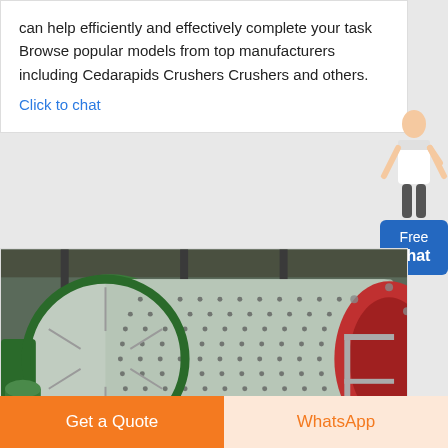can help efficiently and effectively complete your task Browse popular models from top manufacturers including Cedarapids Crushers Crushers and others.
Click to chat
[Figure (photo): Large industrial ball mill drum with studded/perforated cylindrical shell, green metal frame supports, and red circular end cap, photographed in an industrial facility.]
Get a Quote
WhatsApp